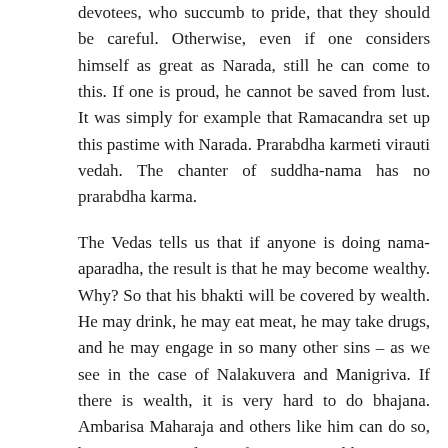devotees, who succumb to pride, that they should be careful. Otherwise, even if one considers himself as great as Narada, still he can come to this. If one is proud, he cannot be saved from lust. It was simply for example that Ramacandra set up this pastime with Narada. Prarabdha karmeti virauti vedah. The chanter of suddha-nama has no prarabdha karma.
The Vedas tells us that if anyone is doing nama-aparadha, the result is that he may become wealthy. Why? So that his bhakti will be covered by wealth. He may drink, he may eat meat, he may take drugs, and he may engage in so many other sins – as we see in the case of Nalakuvera and Manigriva. If there is wealth, it is very hard to do bhajana. Ambarisa Maharaja and others like him can do so, but we cannot do so if we are wealthy. Even a sannyasi may fall down by wealth, and this has also been explained in Srimad-Bhagavatam. Wealth takes us very far